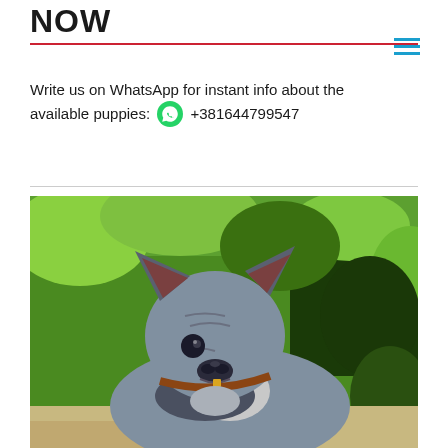NOW
Write us on WhatsApp for instant info about the available puppies: +381644799547
[Figure (photo): A blue/grey French Bulldog puppy with large bat ears, sitting outdoors with green foliage in the background. The puppy wears a brown collar and has a serious expression.]